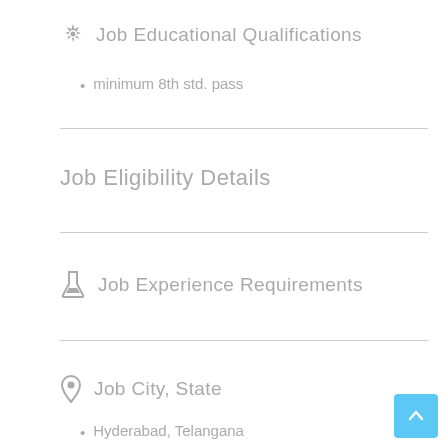Job Educational Qualifications
minimum 8th std. pass
Job Eligibility Details
Job Experience Requirements
Job City, State
Hyderabad, Telangana